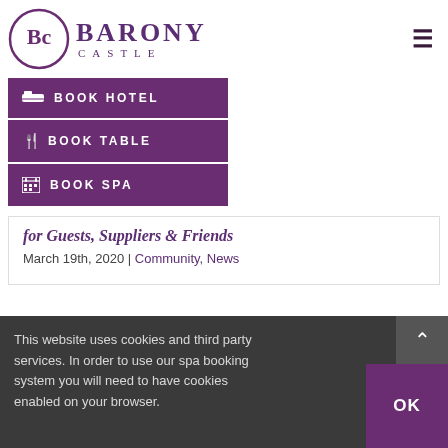[Figure (logo): Barony Castle hotel logo with circular BC monogram badge and text 'BARONY CASTLE' in purple serif font]
BOOK HOTEL
BOOK TABLE
BOOK SPA
for Guests, Suppliers & Friends
March 19th, 2020 | Community, News
This website uses cookies and third party services. In order to use our spa booking system you will need to have cookies enabled on your browser.